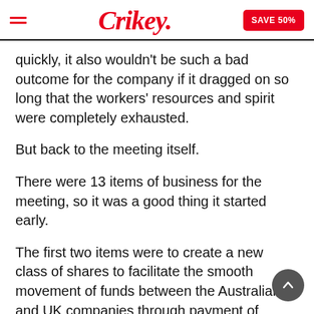Crikey. | SAVE 50%
quickly, it also wouldn't be such a bad outcome for the company if it dragged on so long that the workers' resources and spirit were completely exhausted.
But back to the meeting itself.
There were 13 items of business for the meeting, so it was a good thing it started early.
The first two items were to create a new class of shares to facilitate the smooth movement of funds between the Australian and UK companies through payment of dividends and to change the Australian and UK companies' constitutions to provide for this